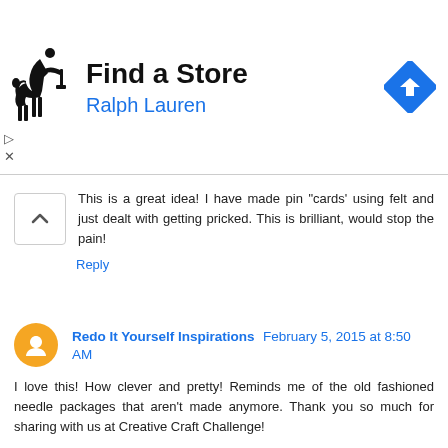[Figure (advertisement): Ralph Lauren 'Find a Store' advertisement with polo horse logo and blue direction sign icon]
This is a great idea! I have made pin "cards' using felt and just dealt with getting pricked. This is brilliant, would stop the pain!
Reply
Redo It Yourself Inspirations  February 5, 2015 at 8:50 AM
I love this! How clever and pretty! Reminds me of the old fashioned needle packages that aren't made anymore. Thank you so much for sharing with us at Creative Craft Challenge!

~ Robin
http://redoityourselfinspirations.blogspot.com/2015/02/february-creative-craft-challenge.html